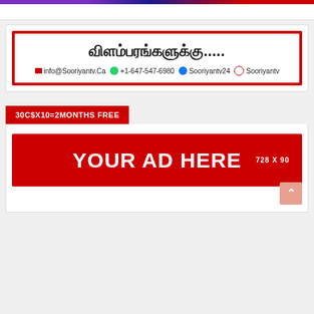[Figure (infographic): Advertisement banner for Sooriyantv with Tamil heading text, red border, and contact details: info@Sooriyantv.Ca, +1-647-547-6980, Sooriyantv24 (Facebook), Sooriyantv (YouTube)]
30C$X10=2MONTHS FREE
[Figure (infographic): Red banner advertisement placeholder reading YOUR AD HERE 728 X 90]